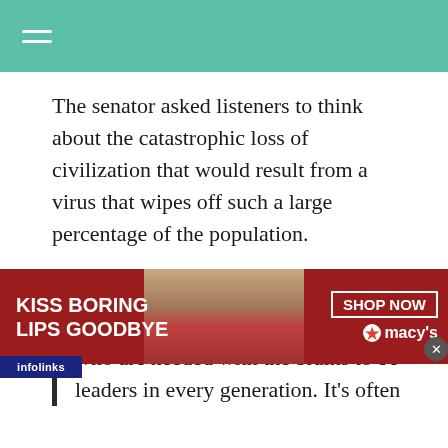The senator asked listeners to think about the catastrophic loss of civilization that would result from a virus that wipes off such a large percentage of the population.
If you eliminate 50% of the population, think of all the people who are needed with the brains to be leaders in every generation. It’s often the way people
[Figure (screenshot): Advertisement banner: 'KISS BORING LIPS GOODBYE' with woman's face and Macy's SHOP NOW button]